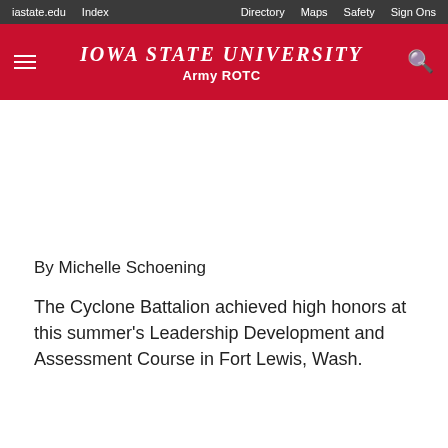iastate.edu  Index  Directory  Maps  Safety  Sign Ons
Iowa State University Army ROTC
By Michelle Schoening
The Cyclone Battalion achieved high honors at this summer's Leadership Development and Assessment Course in Fort Lewis, Wash.